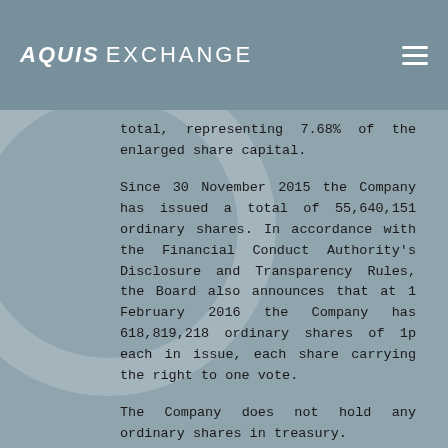AQUIS EXCHANGE
total, representing 7.68% of the enlarged share capital.
Since 30 November 2015 the Company has issued a total of 55,640,151 ordinary shares. In accordance with the Financial Conduct Authority's Disclosure and Transparency Rules, the Board also announces that at 1 February 2016 the Company has 618,819,218 ordinary shares of 1p each in issue, each share carrying the right to one vote.
The Company does not hold any ordinary shares in treasury.